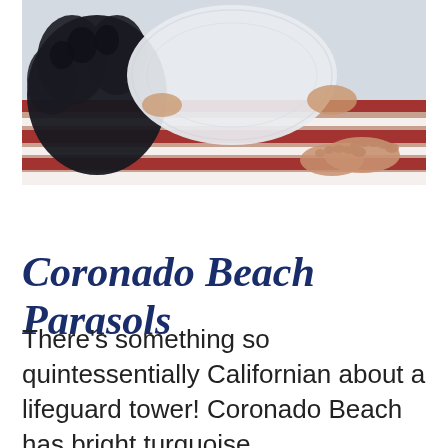[Figure (photo): A person lying on a striped red and white beach blanket wearing a white crocheted or lace outfit, with a dark fluffy dog (appears to be a black poodle or similar breed) on the left side. Bare feet are visible.]
Coronado Beach Parasols
There's something so quintessentially Californian about a lifeguard tower! Coronado Beach has bright turquoise